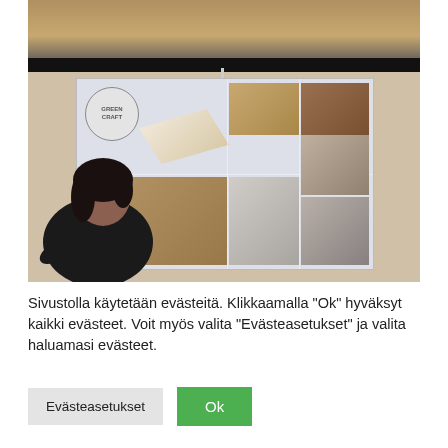[Figure (photo): A woman presenter standing in front of a projection screen showing a 'Green Craft' branded slide with a grid of craft/product images. The setting is a conference or lecture room with beige walls and curtains visible at the top.]
Sivustolla käytetään evästeitä. Klikkaamalla "Ok" hyväksyt kaikki evästeet. Voit myös valita "Evästeasetukset" ja valita haluamasi evästeet.
Evästeasetukset
Ok